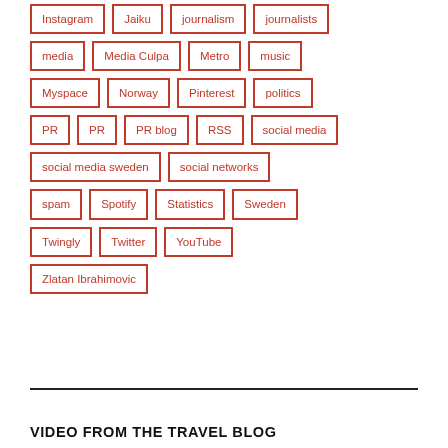Instagram
Jaiku
journalism
journalists
media
Media Culpa
Metro
music
Myspace
Norway
Pinterest
politics
PR
PR
PR blog
RSS
social media
social media sweden
social networks
spam
Spotify
Statistics
Sweden
Twingly
Twitter
YouTube
Zlatan Ibrahimovic
VIDEO FROM THE TRAVEL BLOG